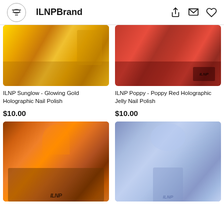ILNPBrand
[Figure (photo): Close-up of gold holographic nail polish bottle and nails on golden background]
[Figure (photo): Close-up of red holographic jelly nail polish bottle with ILNP branding]
ILNP Sunglow - Glowing Gold Holographic Nail Polish
ILNP Poppy - Poppy Red Holographic Jelly Nail Polish
$10.00
$10.00
[Figure (photo): Close-up of orange holographic nail polish on nails with ILNP bottle]
[Figure (photo): Close-up of periwinkle blue nail polish on nails with ILNP bottle]